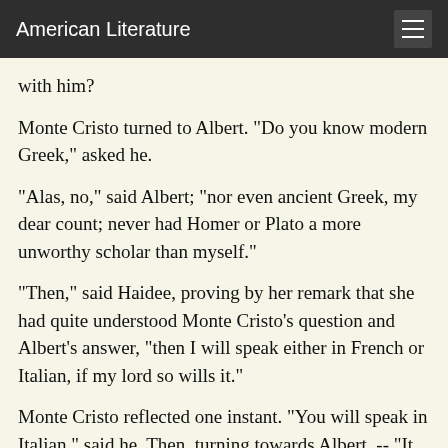American Literature
with him?
Monte Cristo turned to Albert. "Do you know modern Greek," asked he.
"Alas, no," said Albert; "nor even ancient Greek, my dear count; never had Homer or Plato a more unworthy scholar than myself."
"Then," said Haidee, proving by her remark that she had quite understood Monte Cristo's question and Albert's answer, "then I will speak either in French or Italian, if my lord so wills it."
Monte Cristo reflected one instant. "You will speak in Italian," said he. Then, turning towards Albert, -- "It